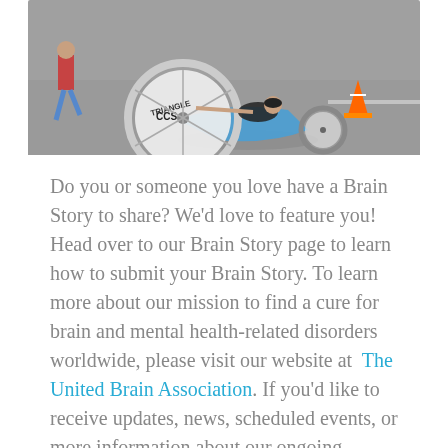[Figure (photo): Overhead photo of a person using a hand cycle (recumbent hand-powered bike) on a road, with 'TRIANGLE CCS' visible on the wheel. A person in shorts is running alongside. An orange traffic cone is visible in the background.]
Do you or someone you love have a Brain Story to share? We'd love to feature you! Head over to our Brain Story page to learn how to submit your Brain Story. To learn more about our mission to find a cure for brain and mental health-related disorders worldwide, please visit our website at The United Brain Association. If you'd like to receive updates, news, scheduled events, or more information about our ongoing